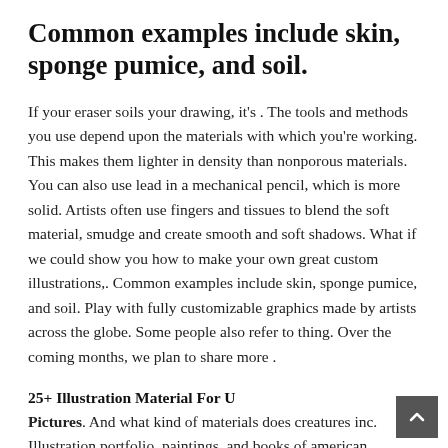Common examples include skin, sponge pumice, and soil.
If your eraser soils your drawing, it's . The tools and methods you use depend upon the materials with which you're working. This makes them lighter in density than nonporous materials. You can also use lead in a mechanical pencil, which is more solid. Artists often use fingers and tissues to blend the soft material, smudge and create smooth and soft shadows. What if we could show you how to make your own great custom illustrations,. Common examples include skin, sponge pumice, and soil. Play with fully customizable graphics made by artists across the globe. Some people also refer to thing. Over the coming months, we plan to share more .
25+ Illustration Material For U
Pictures. And what kind of materials does creatures inc. Illustration portfolio, paintings, and books of american illustrator and author, rebecca green. We discuss how to